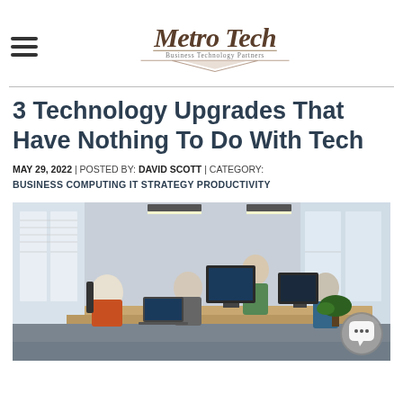Metro Tech — Business Technology Partners
3 Technology Upgrades That Have Nothing To Do With Tech
MAY 29, 2022 | POSTED BY: DAVID SCOTT | CATEGORY: BUSINESS COMPUTING IT STRATEGY PRODUCTIVITY
[Figure (photo): Open office workspace with several employees working at desks with large monitors and laptops, modern interior with large windows and pendant lights]